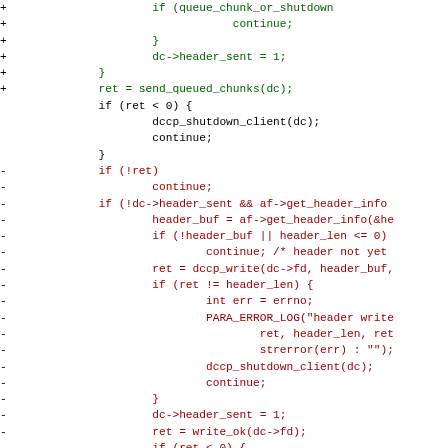[Figure (other): Code diff showing additions (green, marked with +) and removals (red, marked with -) for a C/network programming context. Lines include send_queued_chunks, dccp_shutdown_client, header_buf, PARA_ERROR_LOG, dc->header_sent, write_ok, and related control flow.]